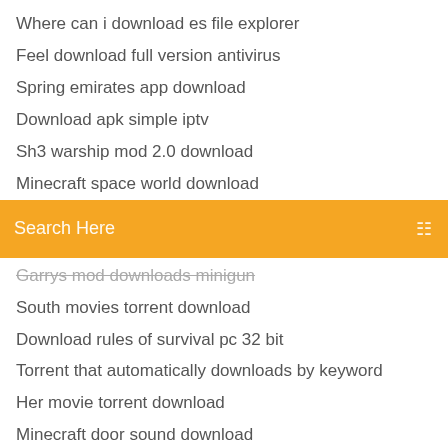Where can i download es file explorer
Feel download full version antivirus
Spring emirates app download
Download apk simple iptv
Sh3 warship mod 2.0 download
Minecraft space world download
[Figure (screenshot): Orange search bar with 'Search Here' placeholder text and a menu icon on the right]
Garrys mod downloads minigun
South movies torrent download
Download rules of survival pc 32 bit
Torrent that automatically downloads by keyword
Her movie torrent download
Minecraft door sound download
Downloading apps from microsoft store error windows 10
Design free logo and download
How to download previous ios from itunes
Superheroes unlimited mod download
Kicksonfire apk download mirror